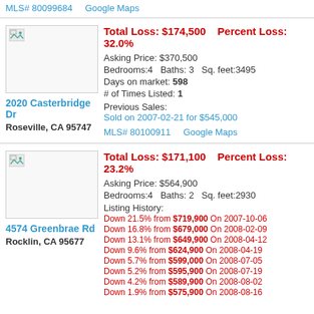MLS# 80099684    Google Maps
Total Loss: $174,500    Percent Loss: 32.0%
Asking Price: $370,500
Bedrooms:4    Baths: 3    Sq. feet:3495
Days on market: 598
# of Times Listed: 1
Previous Sales:
Sold on 2007-02-21 for $545,000
MLS# 80100911    Google Maps
2020 Casterbridge Dr
Roseville, CA 95747
Total Loss: $171,100    Percent Loss: 23.2%
Asking Price: $564,900
Bedrooms:4    Baths: 2    Sq. feet:2930
Listing History:
Down 21.5% from $719,900 On 2007-10-06
Down 16.8% from $679,000 On 2008-02-09
Down 13.1% from $649,900 On 2008-04-12
Down 9.6% from $624,900 On 2008-04-19
Down 5.7% from $599,000 On 2008-07-05
Down 5.2% from $595,900 On 2008-07-19
Down 4.2% from $589,900 On 2008-08-02
Down 1.9% from $575,900 On 2008-08-16
4574 Greenbrae Rd
Rocklin, CA 95677